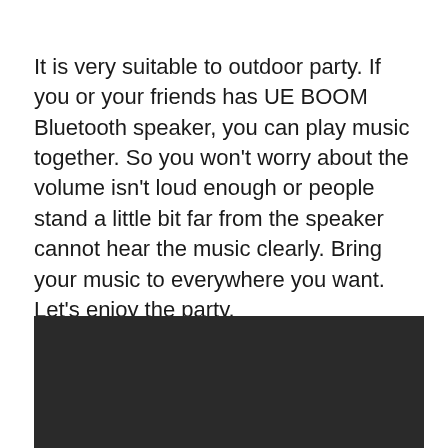It is very suitable to outdoor party. If you or your friends has UE BOOM Bluetooth speaker, you can play music together. So you won't worry about the volume isn't loud enough or people stand a little bit far from the speaker cannot hear the music clearly. Bring your music to everywhere you want. Let's enjoy the party.
[Figure (photo): Dark/black background image, mostly black with very dark tones, partially visible at the bottom of the page.]